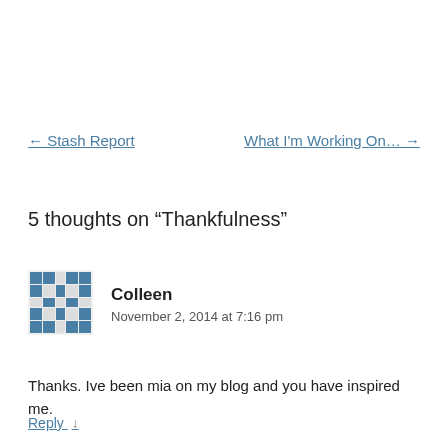← Stash Report
What I'm Working On... →
5 thoughts on “Thankfulness”
[Figure (illustration): Pixel/quilt pattern avatar for commenter Colleen]
Colleen
November 2, 2014 at 7:16 pm
Thanks. Ive been mia on my blog and you have inspired me.
Reply ↓